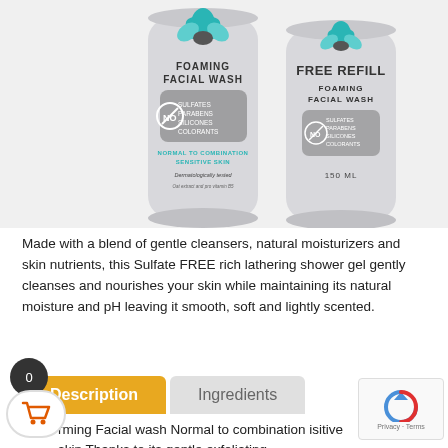[Figure (photo): Two grey cylindrical bottles of Foaming Facial Wash side by side. Left bottle has teal lotus logo, text FOAMING FACIAL WASH, NO SULFATES/PARABENS/SILICONES/COLORANTS badge, NORMAL TO COMBINATION SENSITIVE SKIN, Dermatologically tested. Right bottle is labeled FREE REFILL FOAMING FACIAL WASH with similar NO badge and 150 ML.]
Made with a blend of gentle cleansers, natural moisturizers and skin nutrients, this Sulfate FREE rich lathering shower gel gently cleanses and nourishes your skin while maintaining its natural moisture and pH leaving it smooth, soft and lightly scented.
Description
Ingredients
rming Facial wash Normal to combination isitive skin Thanks to its gentle exfoliating brush and mild formula, this instant foaming